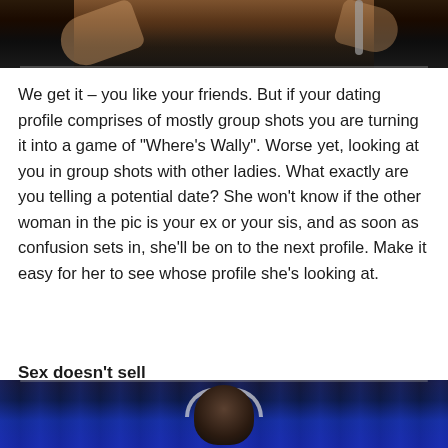[Figure (photo): Partial view of a woman with blonde hair in a dark setting, arms raised, with a microphone visible on the right side. Dark background.]
We get it – you like your friends. But if your dating profile comprises of mostly group shots you are turning it into a game of “Where’s Wally”. Worse yet, looking at you in group shots with other ladies. What exactly are you telling a potential date? She won’t know if the other woman in the pic is your ex or your sis, and as soon as confusion sets in, she’ll be on to the next profile. Make it easy for her to see whose profile she’s looking at.
Sex doesn’t sell
[Figure (photo): A man wearing headphones in front of a blue/dark background, appears to be in a TV studio setting.]